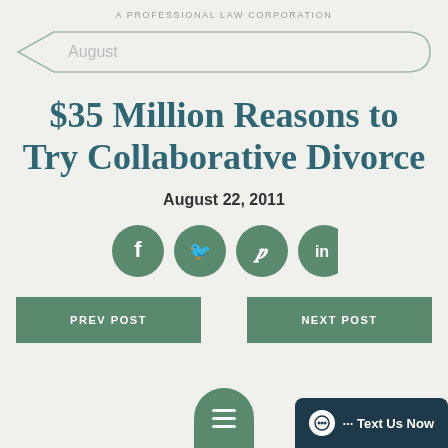A PROFESSIONAL LAW CORPORATION
August
$35 Million Reasons to Try Collaborative Divorce
August 22, 2011
[Figure (other): Social media share icons: Facebook, Twitter, Pinterest, LinkedIn — green circles with white icons]
PREV POST
NEXT POST
··· Text Us Now